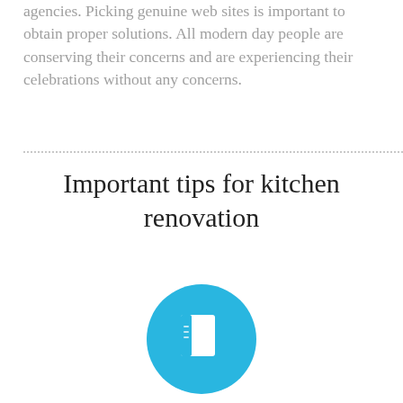agencies. Picking genuine web sites is important to obtain proper solutions. All modern day people are conserving their concerns and are experiencing their celebrations without any concerns.
Important tips for kitchen renovation
[Figure (illustration): A circular blue button icon containing a white document/list icon with lines representing text items]